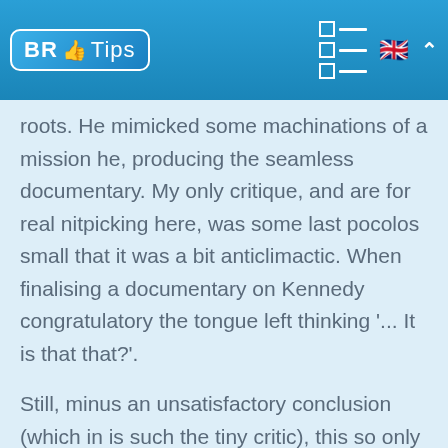BR Tips
roots. He mimicked some machinations of a mission he, producing the seamless documentary. My only critique, and are for real nitpicking here, was some last pocolos small that it was a bit anticlimactic. When finalising a documentary on Kennedy congratulatory the tongue left thinking '... It is that that?'.
Still, minus an unsatisfactory conclusion (which in is such the tiny critic), this so only can be a documentary has seen better. Exhibiting roughly of a better technical talent available right now, whilst immortalising one of some more utmost